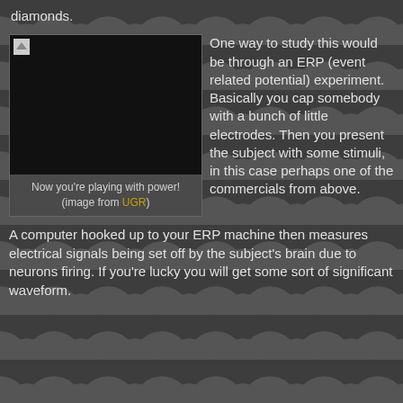diamonds.
[Figure (photo): Dark/black image placeholder with small broken image icon in top-left corner]
Now you're playing with power! (image from UGR)
One way to study this would be through an ERP (event related potential) experiment. Basically you cap somebody with a bunch of little electrodes. Then you present the subject with some stimuli, in this case perhaps one of the commercials from above. A computer hooked up to your ERP machine then measures electrical signals being set off by the subject's brain due to neurons firing. If you're lucky you will get some sort of significant waveform.